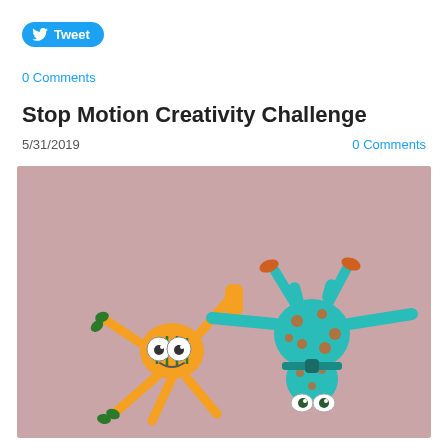[Figure (other): Twitter Tweet button with bird icon, blue rounded pill shape]
0 Comments
Stop Motion Creativity Challenge
5/31/2019    0 Comments
[Figure (photo): Photo of two toy figures on a pink background. Left figure is orange with multiple limbs, googly eyes, and green accents. Right figure is teal/turquoise with orange spots, upside-down posture, and outstretched arms.]